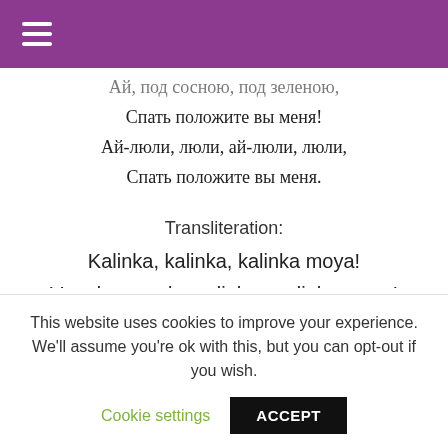[hamburger menu icon]
Ай, под сосною, под зеленою,
Спать положите вы меня!
Ай-люли, люли, ай-люли, люли,
Спать положите вы меня.
Transliteration:
Kalinka, kalinka, kalinka moya!
V sadu yagoda malinka, malinka moya!
Akh, pod sosnoyu, pod zelenoyu,
Spat' polozhite vy menya!
Ay-lyuli, lyuli, ay-lyuli, lyuli,
This website uses cookies to improve your experience. We'll assume you're ok with this, but you can opt-out if you wish.
Cookie settings
ACCEPT